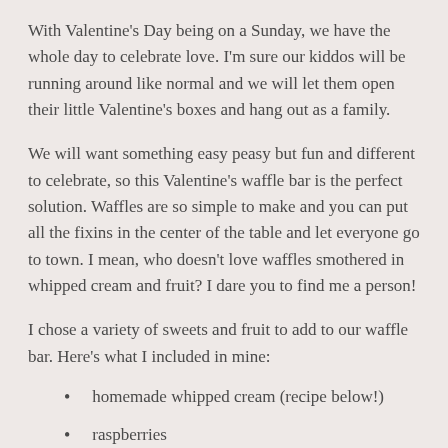With Valentine's Day being on a Sunday, we have the whole day to celebrate love. I'm sure our kiddos will be running around like normal and we will let them open their little Valentine's boxes and hang out as a family.
We will want something easy peasy but fun and different to celebrate, so this Valentine's waffle bar is the perfect solution. Waffles are so simple to make and you can put all the fixins in the center of the table and let everyone go to town. I mean, who doesn't love waffles smothered in whipped cream and fruit? I dare you to find me a person!
I chose a variety of sweets and fruit to add to our waffle bar. Here's what I included in mine:
homemade whipped cream (recipe below!)
raspberries
strawberries (I cut these like a heart by cutting a